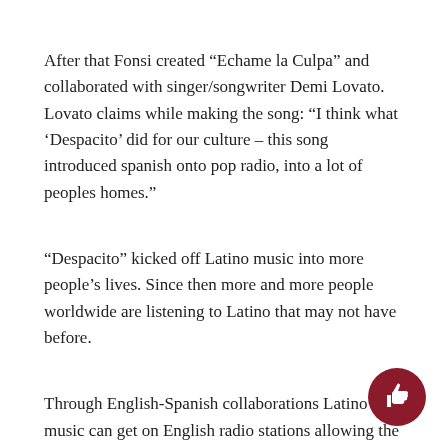After that Fonsi created “Echame la Culpa” and collaborated with singer/songwriter Demi Lovato. Lovato claims while making the song: “I think what ‘Despacito’ did for our culture – this song introduced spanish onto pop radio, into a lot of peoples homes.”
“Despacito” kicked off Latino music into more people’s lives. Since then more and more people worldwide are listening to Latino that may not have before.
Through English-Spanish collaborations Latino music can get on English radio stations allowing the